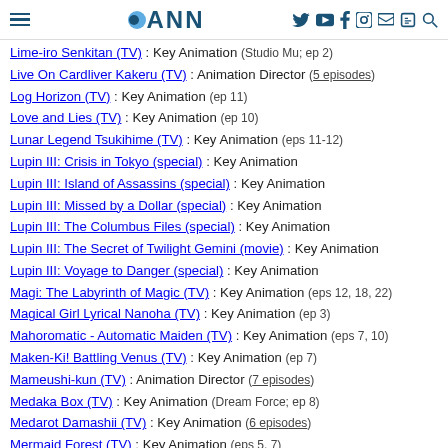ANN (Anime News Network) navigation header
Lime-iro Senkitan (TV) : Key Animation (Studio Mu; ep 2)
Live On Cardliver Kakeru (TV) : Animation Director (5 episodes)
Log Horizon (TV) : Key Animation (ep 11)
Love and Lies (TV) : Key Animation (ep 10)
Lunar Legend Tsukihime (TV) : Key Animation (eps 11-12)
Lupin III: Crisis in Tokyo (special) : Key Animation
Lupin III: Island of Assassins (special) : Key Animation
Lupin III: Missed by a Dollar (special) : Key Animation
Lupin III: The Columbus Files (special) : Key Animation
Lupin III: The Secret of Twilight Gemini (movie) : Key Animation
Lupin III: Voyage to Danger (special) : Key Animation
Magi: The Labyrinth of Magic (TV) : Key Animation (eps 12, 18, 22)
Magical Girl Lyrical Nanoha (TV) : Key Animation (ep 3)
Mahoromatic - Automatic Maiden (TV) : Key Animation (eps 7, 10)
Maken-Ki! Battling Venus (TV) : Key Animation (ep 7)
Mameushi-kun (TV) : Animation Director (7 episodes)
Medaka Box (TV) : Key Animation (Dream Force; ep 8)
Medarot Damashii (TV) : Key Animation (6 episodes)
Mermaid Forest (TV) : Key Animation (eps 5, 7)
Mister Ajikko (TV) : Key Animation (eps 41, 77, 84)
Mobile Suit Gundam Seed (TV) : Key Animation